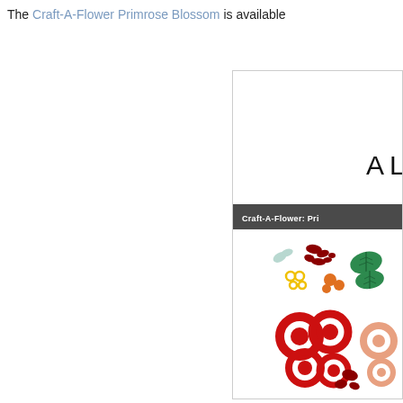The Craft-A-Flower Primrose Blossom is available
[Figure (photo): Product card for Craft-A-Flower: Primrose Blossom die cut set showing various flower and leaf shaped dies in red, orange, yellow, green, and light blue colors on white background, with 'AL' logo text and dark banner with product name.]